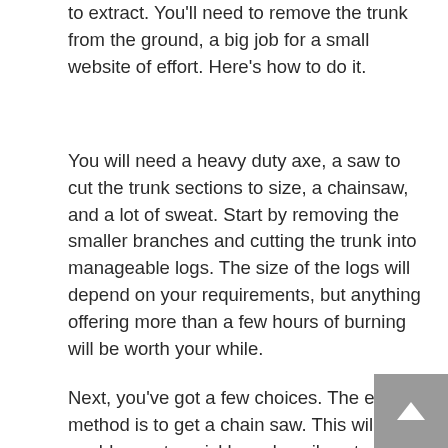to extract. You'll need to remove the trunk from the ground, a big job for a small website of effort. Here's how to do it.
You will need a heavy duty axe, a saw to cut the trunk sections to size, a chainsaw, and a lot of sweat. Start by removing the smaller branches and cutting the trunk into manageable logs. The size of the logs will depend on your requirements, but anything offering more than a few hours of burning will be worth your while.
Next, you've got a few choices. The easiest method is to get a chain saw. This will enable you to quickly and easily cut up the trunk into workable pieces. You may not like the idea of a chain saw for the purpose, but the